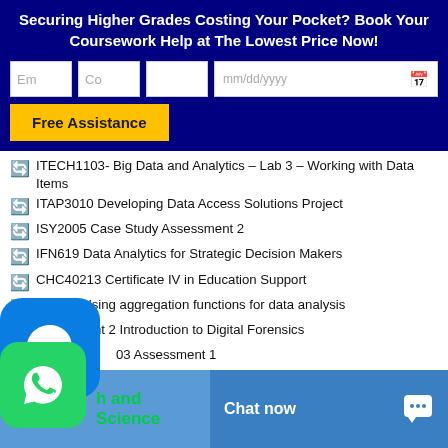Securing Higher Grades Costing Your Pocket? Book Your Coursework Help at The Lowest Price Now!
[Figure (screenshot): Web form with input fields for email, country, blank field, and date picker, plus a yellow 'Free Assistance' button on dark blue background]
ITECH1103- Big Data and Analytics – Lab 3 – Working with Data Items
ITAP3010 Developing Data Access Solutions Project
ISY2005 Case Study Assessment 2
IFN619 Data Analytics for Strategic Decision Makers
CHC40213 Certificate IV in Education Support
SIT718 Using aggregation functions for data analysis
Assignment 2 Introduction to Digital Forensics
03 Assessment 1
003R Network Configuration and Management Project
[Figure (screenshot): Footer bar with WhatsApp icon overlay, 'h and Science' text in green, and 'Chat now' button area with chat icon]